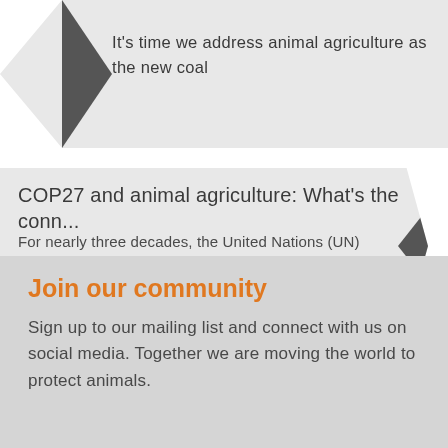It’s time we address animal agriculture as the new coal
COP27 and animal agriculture: What’s the conn...
For nearly three decades, the United Nations (UN) has been bringing together countries for global climate summits – called COPs – which stands for ‘Conference...
Join our community
Sign up to our mailing list and connect with us on social media. Together we are moving the world to protect animals.